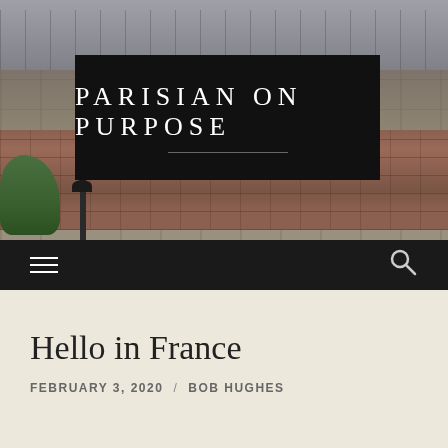[Figure (photo): Parisian building facade with classic Haussmann architecture, brick and stone, with a lamp post and trees in the foreground]
PARISIAN ON PURPOSE
≡   🔍
Hello in France
FEBRUARY 3, 2020  /  BOB HUGHES